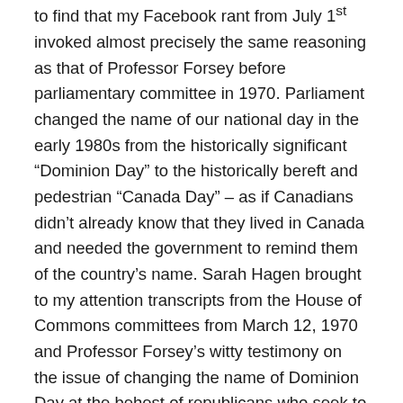to find that my Facebook rant from July 1st invoked almost precisely the same reasoning as that of Professor Forsey before parliamentary committee in 1970. Parliament changed the name of our national day in the early 1980s from the historically significant “Dominion Day” to the historically bereft and pedestrian “Canada Day” – as if Canadians didn’t already know that they lived in Canada and needed the government to remind them of the country’s name. Sarah Hagen brought to my attention transcripts from the House of Commons committees from March 12, 1970 and Professor Forsey’s witty testimony on the issue of changing the name of Dominion Day at the behest of republicans who seek to rid Canada of its constitutional monarchy by stealth over time.
“Dr. Forsey: Well, I think it [Canada Day] is devoid of the historical associations which you do get either in Dominion